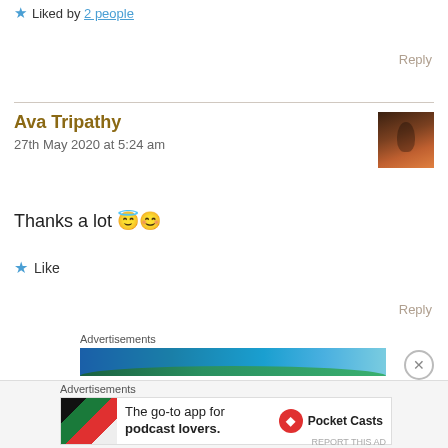★ Liked by 2 people
Reply
Ava Tripathy
27th May 2020 at 5:24 am
Thanks a lot 😇😊
★ Like
Reply
Advertisements
[Figure (screenshot): Blue and green advertisement banner]
Advertisements
[Figure (screenshot): Pocket Casts advertisement: The go-to app for podcast lovers.]